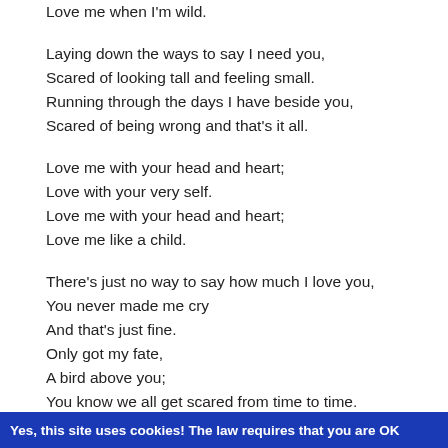Love me when I'm wild.

Laying down the ways to say I need you,
Scared of looking tall and feeling small.
Running through the days I have beside you,
Scared of being wrong and that's it all.

Love me with your head and heart;
Love with your very self.
Love me with your head and heart;
Love me like a child.

There's just no way to say how much I love you,
You never made me cry
And that's just fine.
Only got my fate,
A bird above you;
You know we all get scared from time to time.

Love me with your head and heart;
Love me from the very start.
Love me with your head and heart;
Yes, this site uses cookies! The law requires that you are OK